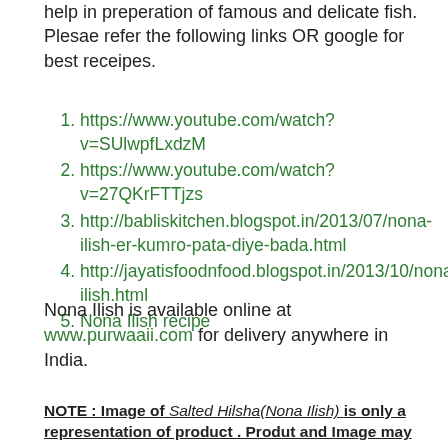help in preperation of famous and delicate fish. Plesae refer the following links OR google for best receipes.
https://www.youtube.com/watch?v=SUlwpfLxdzM
https://www.youtube.com/watch?v=27QKrFTTjzs
http://babliskitchen.blogspot.in/2013/07/nona-ilish-er-kumro-pata-diye-bada.html
http://jayatisfoodnfood.blogspot.in/2013/10/nona-ilish.html
Nona Ilish recipe
Nona Ilish is available online at www.purwaaii.com for delivery anywhere in India.
NOTE : Image of Salted Hilsha(Nona Ilish) is only a representation of product . Produt and Image may differ or may be identical.